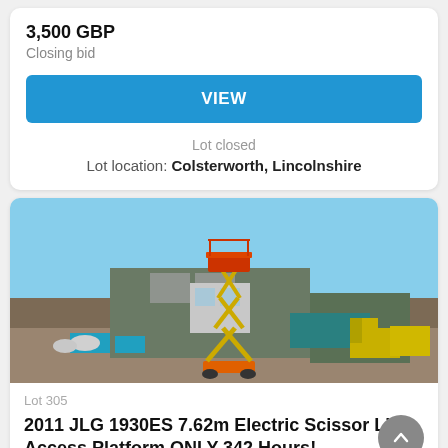3,500 GBP
Closing bid
VIEW
Lot closed
Lot location: Colsterworth, Lincolnshire
[Figure (photo): A yellow scissor lift (JLG 1930ES) extended tall in the air with an industrial yard background, blue sky.]
Lot 305
2011 JLG 1930ES 7.62m Electric Scissor Lift Access Platform ONLY 342 Hours!